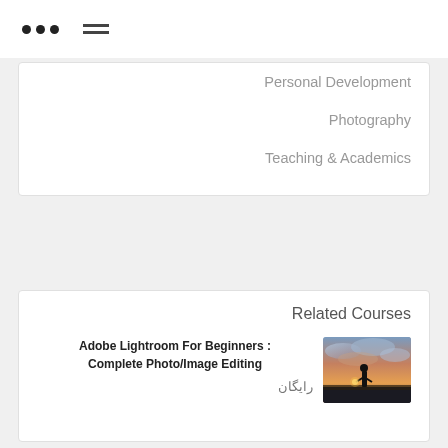... ≡
Personal Development
Photography
Teaching & Academics
Related Courses
Adobe Lightroom For Beginners : Complete Photo/Image Editing
رایگان
[Figure (photo): Person standing in a field at sunset/dusk with dramatic cloudy sky, silhouetted figure holding a light source]